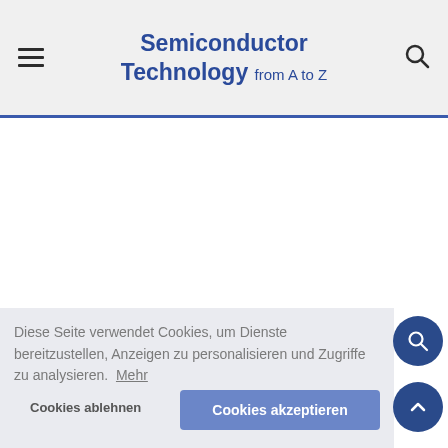Semiconductor Technology from A to Z
Diese Seite verwendet Cookies, um Dienste bereitzustellen, Anzeigen zu personalisieren und Zugriffe zu analysieren.  Mehr
Cookies ablehnen
Cookies akzeptieren